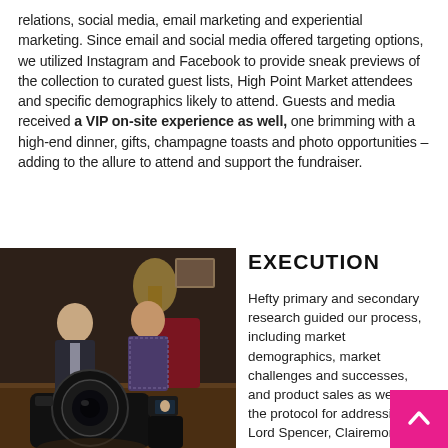relations, social media, email marketing and experiential marketing. Since email and social media offered targeting options, we utilized Instagram and Facebook to provide sneak previews of the collection to curated guest lists, High Point Market attendees and specific demographics likely to attend. Guests and media received a VIP on-site experience as well, one brimming with a high-end dinner, gifts, champagne toasts and photo opportunities – adding to the allure to attend and support the fundraiser.
[Figure (photo): A behind-the-scenes photo showing a camera in the foreground filming two men in suits engaged in conversation in an elegantly decorated room with lamps and red chairs.]
EXECUTION
Hefty primary and secondary research guided our process, including market demographics, market challenges and successes, and product sales as well as the protocol for addressing Lord Spencer, Clairemont...